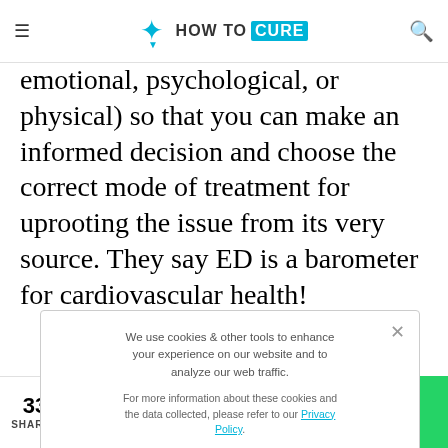HOW TO CURE
emotional, psychological, or physical) so that you can make an informed decision and choose the correct mode of treatment for uprooting the issue from its very source. They say ED is a barometer for cardiovascular health!
We use cookies & other tools to enhance your experience on our website and to analyze our web traffic.

For more information about these cookies and the data collected, please refer to our Privacy Policy.

I ACCEPT USE OF COOKIES
atural route oblems. This natural" at can cure
33 SHARES